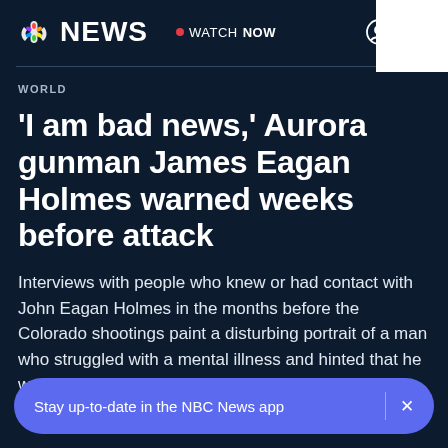NBC NEWS | WATCH NOW | [user icon] [menu icon]
WORLD
'I am bad news,' Aurora gunman James Eagan Holmes warned weeks before attack
Interviews with people who knew or had contact with John Eagan Holmes in the months before the Colorado shootings paint a disturbing portrait of a man who struggled with a mental illness and hinted that he was losi
Stay up-to-date in the NBC News app